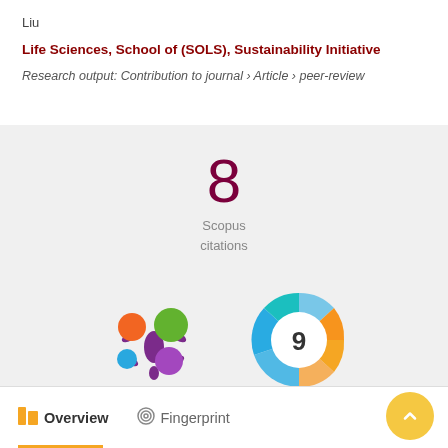Liu
Life Sciences, School of (SOLS), Sustainability Initiative
Research output: Contribution to journal › Article › peer-review
[Figure (infographic): Scopus citations count showing the number 8 in dark red/maroon color, with 'Scopus citations' label below]
[Figure (logo): Altmetric donut badge with colorful circles (orange, green, blue, purple) in a flower/splat pattern]
[Figure (infographic): Dimensions badge showing the number 9 inside a circular swirl logo with blue, teal, and orange colors]
Overview
Fingerprint